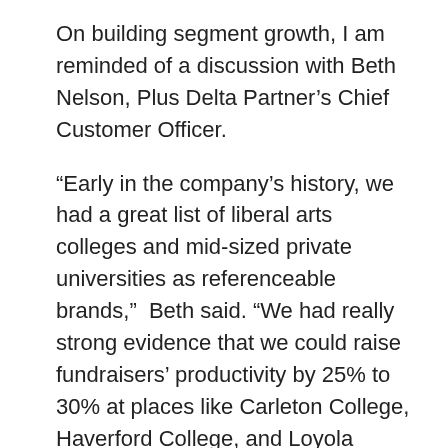On building segment growth, I am reminded of a discussion with Beth Nelson, Plus Delta Partner's Chief Customer Officer.
“Early in the company’s history, we had a great list of liberal arts colleges and mid-sized private universities as referenceable brands,” Beth said. “We had really strong evidence that we could raise fundraisers’ productivity by 25% to 30% at places like Carleton College, Haverford College, and Loyola Marymount among others. But, these client names got us almost no attention from the large research universities, which have ten times the budget for professional development.”
“You now work with several dozen of the large